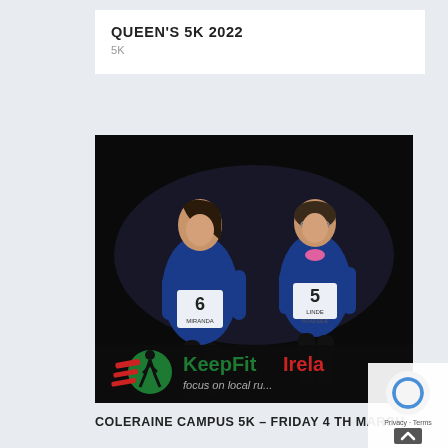QUEEN'S 5K 2022
5K
[Figure (photo): Two female runners wearing blue Coleraine Campus shirts and race bibs (numbers 6 - Miranda, and 5 - Linde) smiling mid-race. The KeepFit Ireland logo and tagline 'focus on local ru...' appear at the bottom of the photo against a dark background.]
COLERAINE CAMPUS 5K – FRIDAY 4 TH MARCH